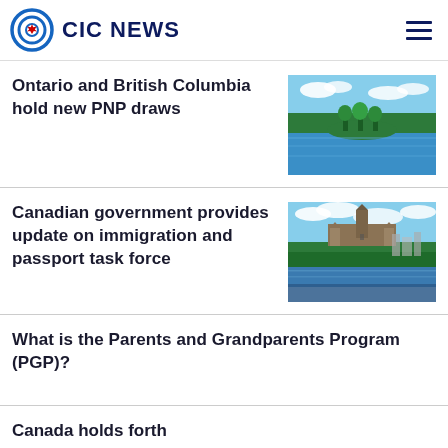CIC NEWS
Ontario and British Columbia hold new PNP draws
[Figure (photo): Aerial view of a blue river with green tree-covered islands under a blue sky]
Canadian government provides update on immigration and passport task force
[Figure (photo): View of the Canadian Parliament buildings on a hill overlooking a river with trees in the foreground]
What is the Parents and Grandparents Program (PGP)?
Canada holds forth...